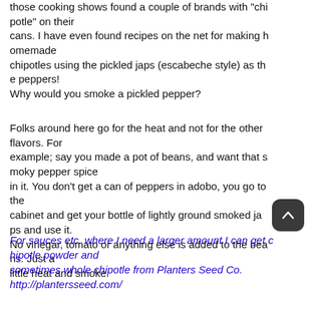those cooking shows found a couple of brands with "chipotle" on their cans. I have even found recipes on the net for making homemade chipotles using the pickled japs (escabeche style) as the peppers! Why would you smoke a pickled pepper?
Folks around here go for the heat and not for the other flavors. For example; say you made a pot of beans, and want that smoky pepper spice in it. You don't get a can of peppers in adobo, you go to the cabinet and get your bottle of lightly ground smoked japs and use it. No vinegar, tomato or anything else is added to the beans. Just a little heat and smoke.
For sauces etc. where I need a larger amount I can get chipotle powder and sometimes whole chipotle from Planters Seed Co. http://plantersseed.com/